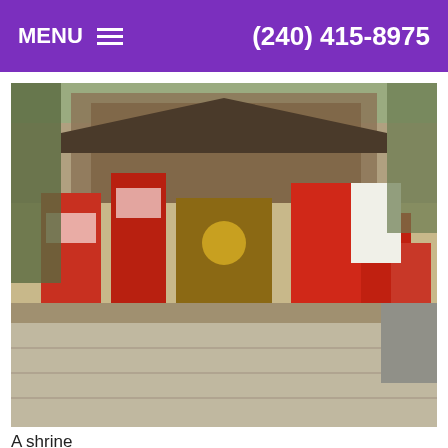MENU  (240) 415-8975
[Figure (photo): A Japanese shrine entrance with red structures, omikuji (fortune) stands, a stone-paved courtyard, and wooden shrine buildings in the background.]
A shrine
[Figure (photo): Close-up of a traditional Japanese shrine or temple building featuring a distinctive curved thatched or tiled roof (kirizuma or irimoya style) surrounded by green trees.]